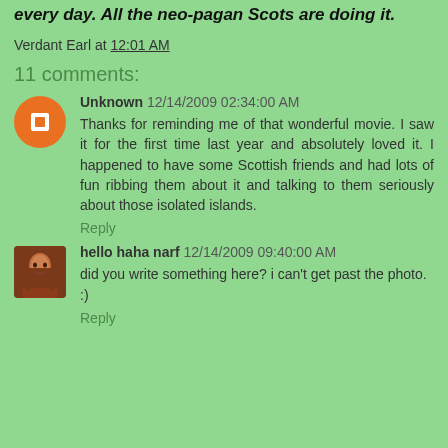every day. All the neo-pagan Scots are doing it.
Verdant Earl at 12:01 AM
11 comments:
Unknown 12/14/2009 02:34:00 AM
Thanks for reminding me of that wonderful movie. I saw it for the first time last year and absolutely loved it. I happened to have some Scottish friends and had lots of fun ribbing them about it and talking to them seriously about those isolated islands.
Reply
hello haha narf 12/14/2009 09:40:00 AM
did you write something here? i can't get past the photo.
:)
Reply